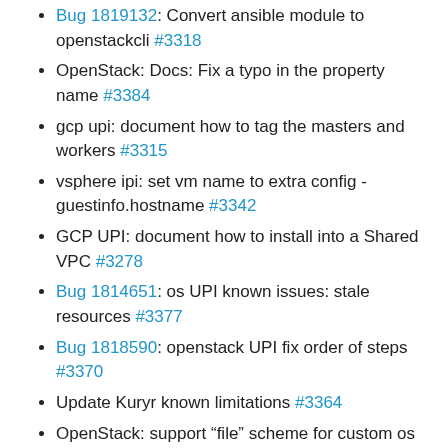Bug 1819132: Convert ansible module to openstackcli #3318
OpenStack: Docs: Fix a typo in the property name #3384
gcp upi: document how to tag the masters and workers #3315
vsphere ipi: set vm name to extra config - guestinfo.hostname #3342
GCP UPI: document how to install into a Shared VPC #3278
Bug 1814651: os UPI known issues: stale resources #3377
Bug 1818590: openstack UPI fix order of steps #3370
Update Kuryr known limitations #3364
OpenStack: support “file” scheme for custom os image urls #3273
openstack: Detail the clouds.yaml cacert option #3256